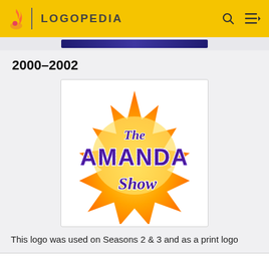LOGOPEDIA
2000–2002
[Figure (logo): The Amanda Show logo — a starburst shape in orange and yellow gradient with purple decorative lettering reading 'The Amanda Show']
This logo was used on Seasons 2 & 3 and as a print logo